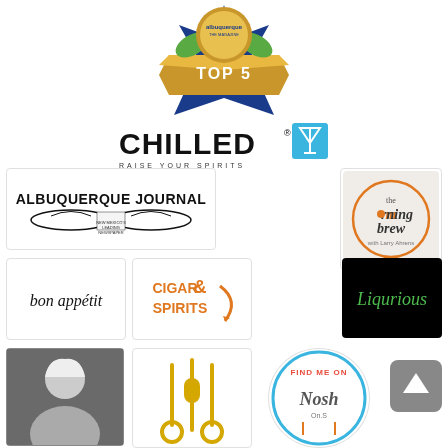[Figure (logo): Albuquerque The Magazine Top 5 award badge with gold ribbon, blue star burst and green elements]
[Figure (logo): CHILLED magazine logo with martini glass icon and tagline RAISE YOUR SPIRITS]
[Figure (logo): Albuquerque Journal newspaper logo with eagle/wings emblem and text NEW MEXICO'S LEADING NEWSPAPER]
[Figure (logo): The Morning Brew with Larry Ahrens logo on crumpled white napkin]
[Figure (logo): bon appetit magazine logo in black serif italic text]
[Figure (logo): Cigar & Spirits magazine logo in orange text]
[Figure (logo): Liqurious logo in green script font on black background]
[Figure (photo): Portrait photo of a middle-aged man with white/grey hair]
[Figure (illustration): Yellow kitchen utensils silhouette: ladles and fork]
[Figure (logo): Find Me On Nosh circular badge logo in blue and orange]
[Figure (other): Grey scroll-to-top button with upward arrow]